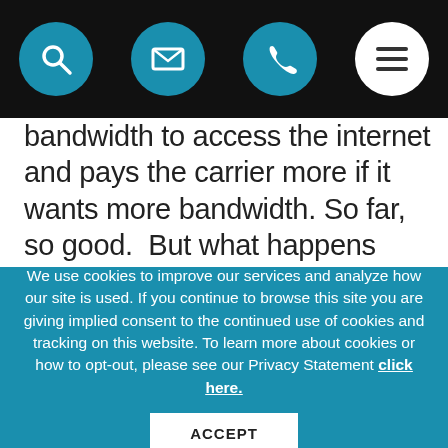[Navigation bar with search, email, phone, and menu icons]
bandwidth to access the internet and pays the carrier more if it wants more bandwidth. So far, so good. But what happens when the carriers-who never pass up an opportunity to enhance revenues with additional fees-want to charge not only their
We use cookies to improve our services and analyze how our site is used. If you continue to browse this site you are giving implied consent to the continued use of cookies and tracking on this website. To learn more about cookies or how to opt-out, please see our Privacy Statement click here.
ACCEPT